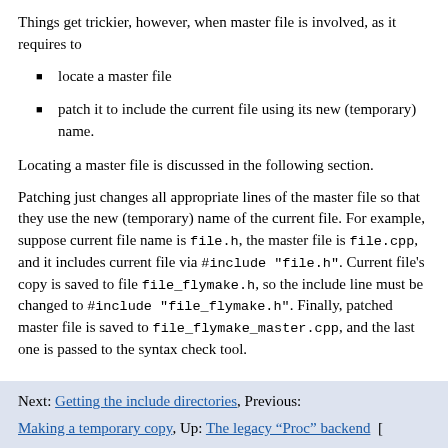Things get trickier, however, when master file is involved, as it requires to
locate a master file
patch it to include the current file using its new (temporary) name.
Locating a master file is discussed in the following section.
Patching just changes all appropriate lines of the master file so that they use the new (temporary) name of the current file. For example, suppose current file name is file.h, the master file is file.cpp, and it includes current file via #include "file.h". Current file’s copy is saved to file file_flymake.h, so the include line must be changed to #include "file_flymake.h". Finally, patched master file is saved to file_flymake_master.cpp, and the last one is passed to the syntax check tool.
Next: Getting the include directories, Previous:
Making a temporary copy, Up: The legacy “Proc” backend [